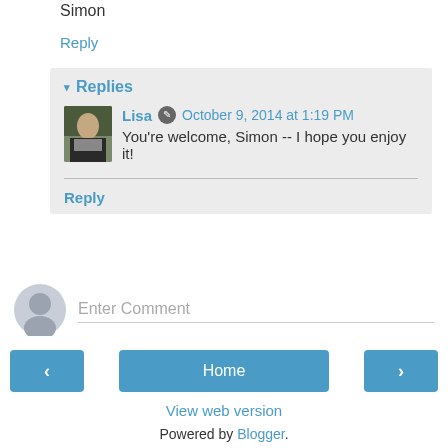Simon
Reply
▾ Replies
Lisa  October 9, 2014 at 1:19 PM
You're welcome, Simon -- I hope you enjoy it!
Reply
Enter Comment
Home
View web version
Powered by Blogger.